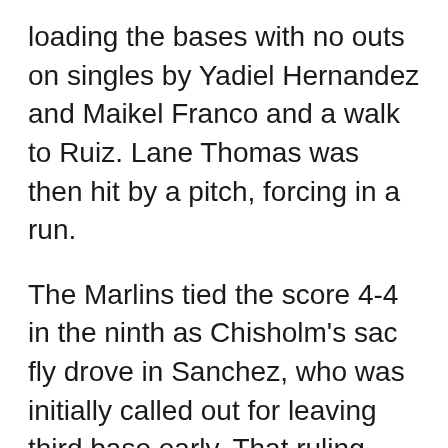loading the bases with no outs on singles by Yadiel Hernandez and Maikel Franco and a walk to Ruiz. Lane Thomas was then hit by a pitch, forcing in a run.
The Marlins tied the score 4-4 in the ninth as Chisholm's sac fly drove in Sanchez, who was initially called out for leaving third base early. That ruling was reversed after a video replay.
After Ruiz's RBI single in the top of the 10th, Victor Arano earned the save in the bottom of the inning. Besides getting three outs, he also backed up third base, stopping an overthrow from getting into